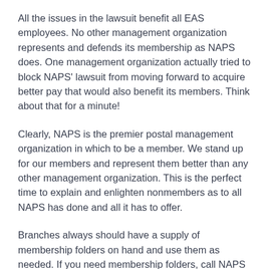All the issues in the lawsuit benefit all EAS employees. No other management organization represents and defends its membership as NAPS does. One management organization actually tried to block NAPS' lawsuit from moving forward to acquire better pay that would also benefit its members. Think about that for a minute!
Clearly, NAPS is the premier postal management organization in which to be a member. We stand up for our members and represent them better than any other management organization. This is the perfect time to explain and enlighten nonmembers as to all NAPS has done and all it has to offer.
Branches always should have a supply of membership folders on hand and use them as needed. If you need membership folders, call NAPS Headquarters and they will send you what you need. Once you get a new member's 1187, tell them when and where the next branch meeting is. Let's get on a roll and strike while the iron is hot.